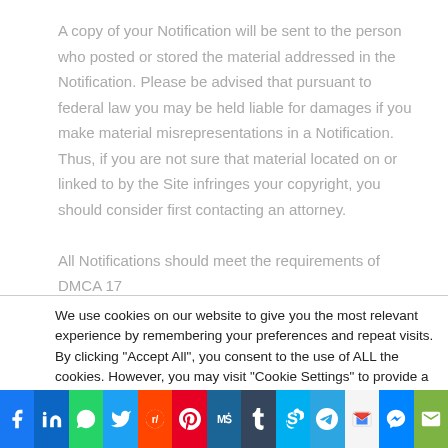A copy of your Notification will be sent to the person who posted or stored the material addressed in the Notification. Please be advised that pursuant to federal law you may be held liable for damages if you make material misrepresentations in a Notification. Thus, if you are not sure that material located on or linked to by the Site infringes your copyright, you should consider first contacting an attorney.
All Notifications should meet the requirements of DMCA 17
We use cookies on our website to give you the most relevant experience by remembering your preferences and repeat visits. By clicking "Accept All", you consent to the use of ALL the cookies. However, you may visit "Cookie Settings" to provide a controlled consent.
[Figure (other): Social media share bar with icons for Facebook, LinkedIn, WhatsApp, Twitter, Reddit, Pinterest, MeWe, Tumblr, Skype, Telegram, Gmail, Messenger, Email]